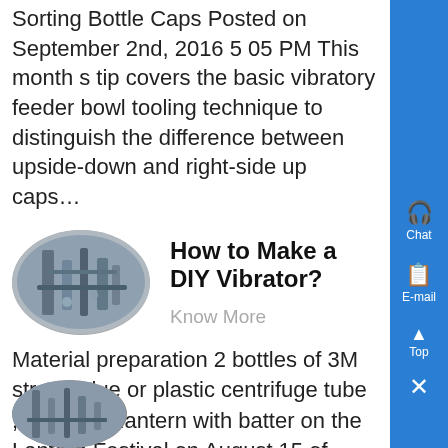Sorting Bottle Caps Posted on September 2nd, 2016 5 05 PM This month s tip covers the basic vibratory feeder bowl tooling technique to distinguish the difference between upside-down and right-side up caps…
[Figure (photo): Oval-shaped photo of industrial machinery/vibratory feeder equipment]
How to Make a DIY Vibrator?
Know More
Material preparation 2 bottles of 3M strong glue or plastic centrifuge tube , knife, the lantern with batter on the Lantern Festival on August 15 of course, if you don t have one, you can replace it with another Whe making, you can choose plastic centrifuge tube to be more hygienic, and the length is not a problem…
[Figure (photo): Oval-shaped thumbnail photo of industrial machinery at bottom of page]